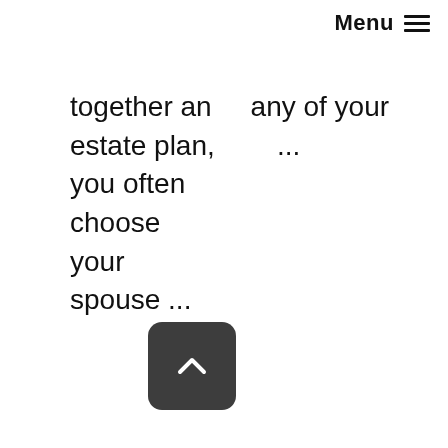Menu ≡
together an   any of your
estate plan,        ...
you often
choose
your
spouse ...
[Figure (other): Back to top button - dark rounded square with upward chevron arrow]